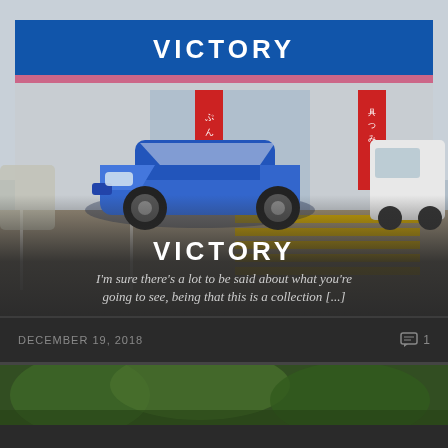[Figure (photo): A blue Japanese sports car (Nissan Silvia/S14) parked in front of a Japanese convenience store with blue signage reading 'VICTORY' and red Japanese promotional banners. A white van is visible on the right side.]
VICTORY
I'm sure there's a lot to be said about what you're going to see, being that this is a collection [...]
DECEMBER 19, 2018
1
[Figure (photo): Partial view of another photo below, showing green trees/foliage.]